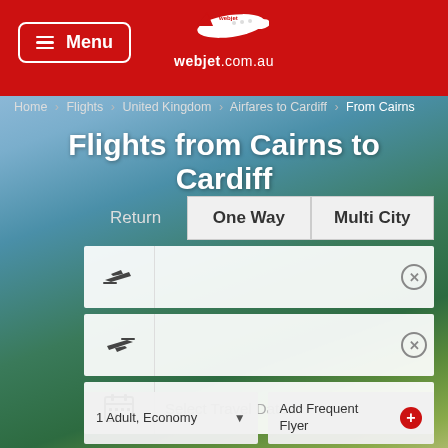[Figure (screenshot): Webjet.com.au flight search page showing flights from Cairns to Cardiff with search form fields]
Menu | webjet.com.au
Home › Flights › United Kingdom › Airfares to Cardiff › From Cairns
Flights from Cairns to Cardiff
Return | One Way | Multi City
Departure airport input field
Arrival airport input field
Select Travel Dates
1 Adult, Economy
Add Frequent Flyer